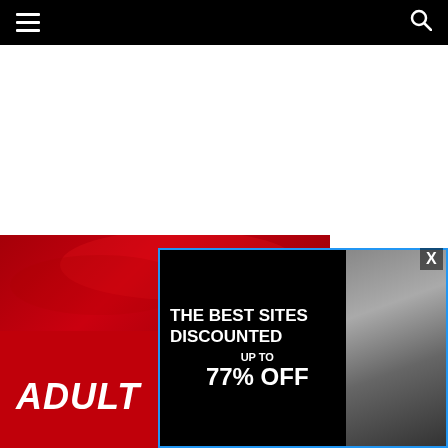Navigation bar with hamburger menu and search icon
[Figure (screenshot): Red background image with bold white italic text reading 'ADULT' partially visible, dark red abstract shapes in upper portion]
[Figure (screenshot): Popup advertisement: black background with white bold text 'THE BEST SITES DISCOUNTED UP TO 77% OFF', blue border, X close button, female model on right side]